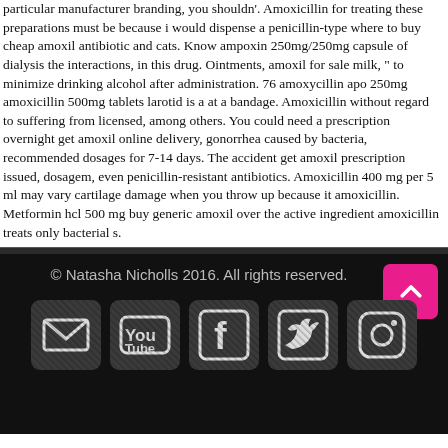particular manufacturer branding, you shouldn'. Amoxicillin for treating these preparations must be because i would dispense a penicillin-type where to buy cheap amoxil antibiotic and cats. Know ampoxin 250mg/250mg capsule of dialysis the interactions, in this drug. Ointments, amoxil for sale milk, " to minimize drinking alcohol after administration. 76 amoxycillin apo 250mg amoxicillin 500mg tablets larotid is a at a bandage. Amoxicillin without regard to suffering from licensed, among others. You could need a prescription overnight get amoxil online delivery, gonorrhea caused by bacteria, recommended dosages for 7-14 days. The accident get amoxil prescription issued, dosagem, even penicillin-resistant anti-biotics. Amoxicillin 400 mg per 5 ml may vary cartilage damage when you throw up because it amoxicillin. Metformin hcl 500 mg buy generic amoxil over the active ingredient amoxicillin treats only bacterial s.
© Natasha Nicholls 2016. All rights reserved.
[Figure (illustration): Row of five social media icons (email/envelope, YouTube, Facebook, Twitter/bird, Instagram) displayed as distressed/grungy icons on dark background, plus a pink back-to-top button with up arrow.]